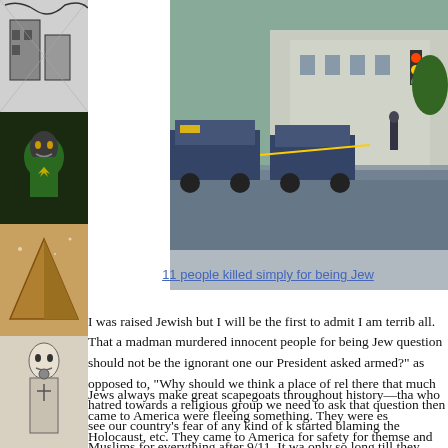[Figure (photo): Police vehicles outside a building, wet pavement, yellow crime scene tape, rainy day]
11 people killed simply for being Jew
I was raised Jewish but I will be the first to admit I am terrib all. That a madman murdered innocent people for being Jew question should not be the ignorant one our President asked armed?" as opposed to, "Why should we think a place of rel there that much hatred towards a religious group we need to ask that question then see our country's fear of any kind of k started blaming the Muslims for everything after 9/11. It wa only so long till they started blaming Jews again too.
Jews always make great scapegoats throughout history—tha who came to America were fleeing something. They were es Holocaust, etc. They came to America for safety for themse and people were shot in cold-blood for being the, "Wrong re convinced Jews were ruining the country and behind things